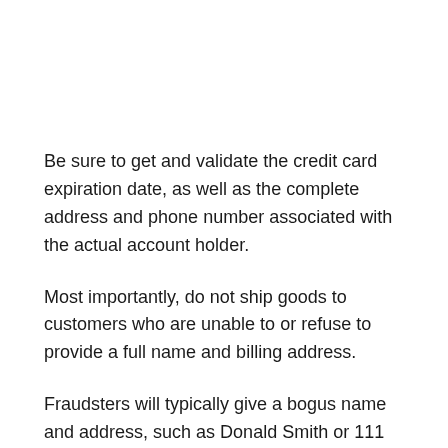Be sure to get and validate the credit card expiration date, as well as the complete address and phone number associated with the actual account holder.
Most importantly, do not ship goods to customers who are unable to or refuse to provide a full name and billing address.
Fraudsters will typically give a bogus name and address, such as Donald Smith or 111 Main Avenue.
Be sure your IT billing team gets the credit card